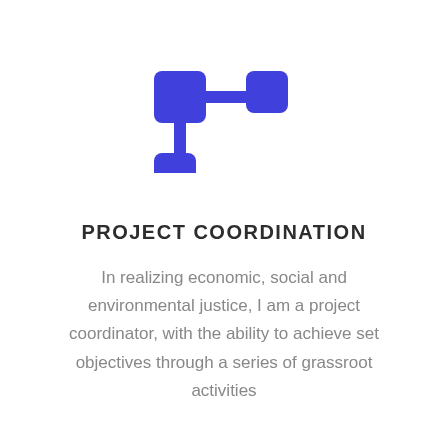[Figure (illustration): Blue project coordination icon showing a node/hierarchy diagram with three rounded rectangles connected by lines — one large square on the left, one smaller square connected by a horizontal line to the right, and one smaller square below connected by a vertical line]
PROJECT COORDINATION
In realizing economic, social and environmental justice, I am a project coordinator, with the ability to achieve set objectives through a series of grassroot activities